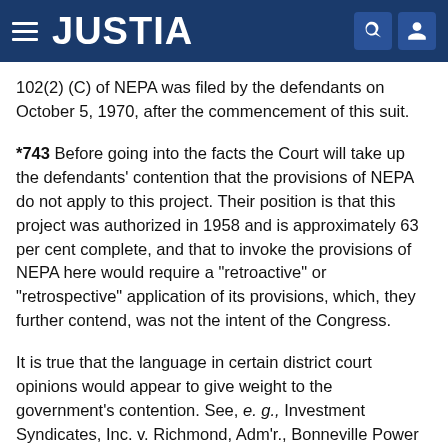JUSTIA
102(2) (C) of NEPA was filed by the defendants on October 5, 1970, after the commencement of this suit.
*743 Before going into the facts the Court will take up the defendants' contention that the provisions of NEPA do not apply to this project. Their position is that this project was authorized in 1958 and is approximately 63 per cent complete, and that to invoke the provisions of NEPA here would require a "retroactive" or "retrospective" application of its provisions, which, they further contend, was not the intent of the Congress.
It is true that the language in certain district court opinions would appear to give weight to the government's contention. See, e. g., Investment Syndicates, Inc. v. Richmond, Adm'r., Bonneville Power Administration, U. S. District Court, Ore., 318 F. Supp.